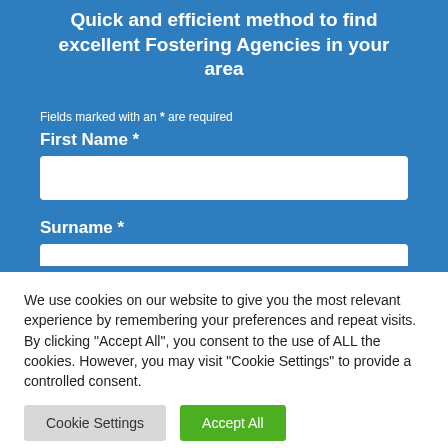Quick and efficient method to find excellent Fostering Agencies in your area
Fields marked with an * are required
First Name *
Surname *
We use cookies on our website to give you the most relevant experience by remembering your preferences and repeat visits. By clicking "Accept All", you consent to the use of ALL the cookies. However, you may visit "Cookie Settings" to provide a controlled consent.
Cookie Settings
Accept All